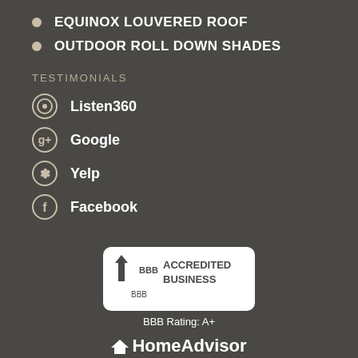EQUINOX LOUVERED ROOF
OUTDOOR ROLL DOWN SHADES
TESTIMONIALS
Listen360
Google
Yelp
Facebook
[Figure (logo): BBB Accredited Business badge with BBB Rating: A+]
[Figure (logo): HomeAdvisor Five Star Rating badge with 5 stars]
[Figure (logo): Proudly featured on badge (partially visible)]